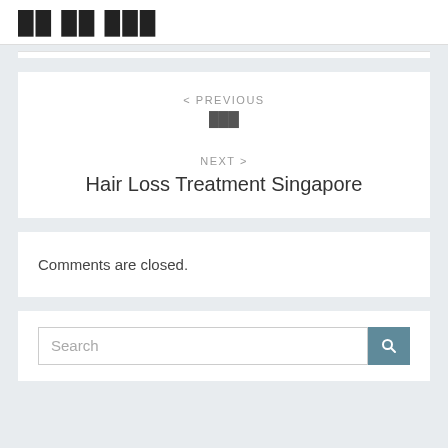██ ██ ███
< PREVIOUS
███
NEXT >
Hair Loss Treatment Singapore
Comments are closed.
Search